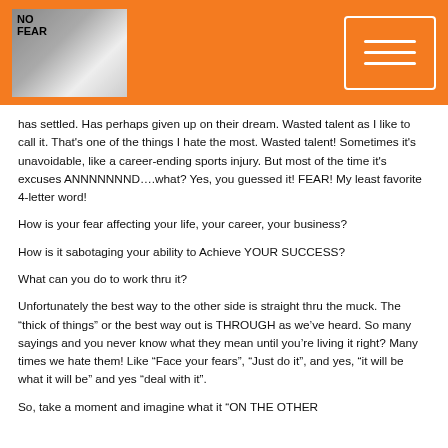[Figure (logo): Logo with person photo and 'NO FEAR' text on white background, top left]
[Figure (other): Hamburger menu icon in white outlined box, top right]
has settled. Has perhaps given up on their dream.  Wasted talent as I like to call it. That's one of the things I hate the most.  Wasted talent!  Sometimes it's unavoidable, like a career-ending sports injury. But most of the time it's excuses ANNNNNNND….what? Yes, you guessed it! FEAR! My least favorite 4-letter word!
How is your fear affecting your life, your career, your business?
How is it sabotaging your ability to Achieve YOUR SUCCESS?
What can you do to work thru it?
Unfortunately the best way to the other side is straight thru the muck. The “thick of things” or the best way out is THROUGH as we’ve heard. So many sayings and you never know what they mean until you’re living it right? Many times we hate them! Like “Face your fears”, “Just do it”, and yes, “it will be what it will be” and yes “deal with it”.
So, take a moment and imagine what it “ON THE OTHER